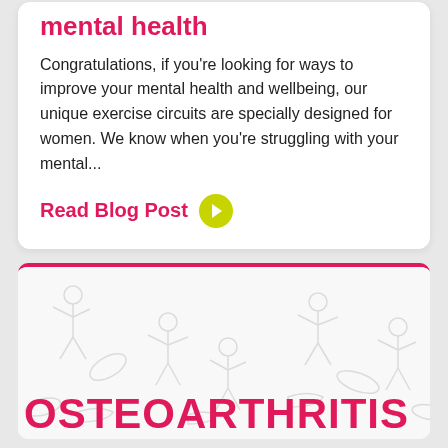mental health
Congratulations, if you're looking for ways to improve your mental health and wellbeing, our unique exercise circuits are specially designed for women. We know when you're struggling with your mental...
Read Blog Post
[Figure (illustration): Blog post card thumbnail showing outline illustrations of human figures exercising, with a pink top border and the text OSTEOARTHRITIS in large pink letters at the bottom]